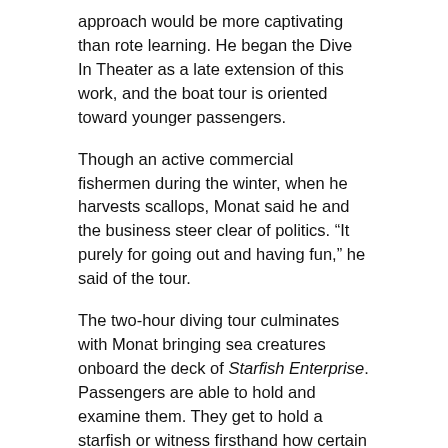approach would be more captivating than rote learning. He began the Dive In Theater as a late extension of this work, and the boat tour is oriented toward younger passengers.
Though an active commercial fishermen during the winter, when he harvests scallops, Monat said he and the business steer clear of politics. “It purely for going out and having fun,” he said of the tour.
The two-hour diving tour culminates with Monat bringing sea creatures onboard the deck of Starfish Enterprise. Passengers are able to hold and examine them. They get to hold a starfish or witness firsthand how certain crabs use detritus as camouflage.
“I bring people out to care about the environment,” Monat said.
Monat also created the League of Underwater Superheroes, a diving club on Mount Desert Island. The club offers residents opportunities to dive with Martin and Monat year round. Opportunities range from gathering scallops to playing underwater hockey at the local YMCA and diving at shipwreck sites along the New England coast.
Monat and Martin also collaborate with college students on research projects, and their two deckhands this summer both happen to be